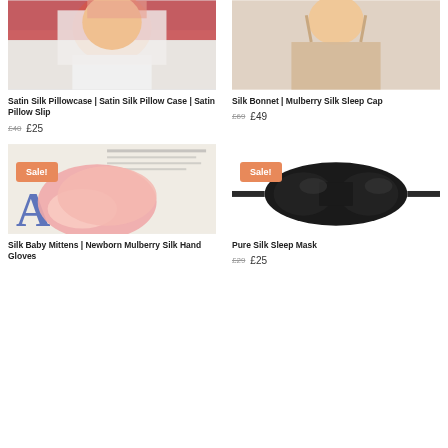[Figure (photo): Woman lying on white and red silk pillowcase, smiling]
Satin Silk Pillowcase | Satin Silk Pillow Case | Satin Pillow Slip
£40 £25
[Figure (photo): Woman wearing beige silk slip, torso shot]
Silk Bonnet | Mulberry Silk Sleep Cap
£69 £49
[Figure (photo): Pink silk bonnet/sleep cap on newspaper background with Sale! badge]
Silk Baby Mittens | Newborn Mulberry Silk Hand Gloves
[Figure (photo): Black silk sleep mask on white background with Sale! badge]
Pure Silk Sleep Mask
£29 £25